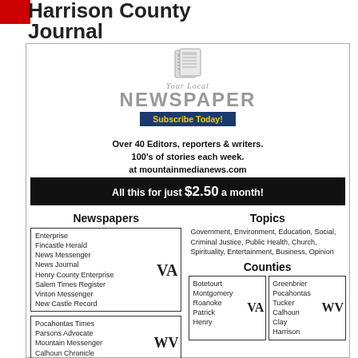Harrison County Journal
[Figure (logo): Your Local NEWSPAPER graphic with newspaper icon and Subscribe Today button]
Over 40 Editors, reporters & writers. 100's of stories each week. at mountainmedianews.com
All this for just $2.50 a month!
Newspapers
Enterprise
Fincastle Herald
News Messenger
News Journal
Henry County Enterprise
Salem Times Register
Vinton Messenger
New Castle Record
VA
Pocahontas Times
Parsons Advocate
Mountain Messenger
Calhoun Chronicle
Clay County Free Press
WV
Topics
Government, Environment, Education, Social, Criminal Justice, Public Health, Church, Spirituality, Entertainment, Business, Opinion
Counties
Botetourt
Montgomery
Roanoke
Patrick
Henry
VA
Greenbrier
Pocahontas
Tucker
Calhoun
Clay
Harrison
WV